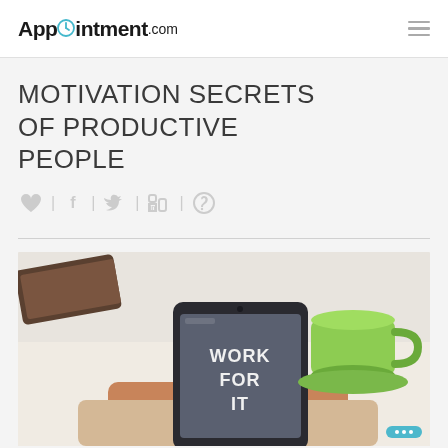Appointment.com
MOTIVATION SECRETS OF PRODUCTIVE PEOPLE
[Figure (other): Social sharing icons row: heart, Facebook f, Twitter bird, LinkedIn in, Pinterest p — separated by vertical bars]
[Figure (photo): Photo of a person holding a smartphone showing the text WORK FOR IT on the screen, with a green coffee cup and wallet in the background on a white surface]